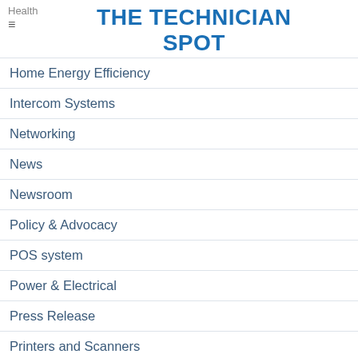THE TECHNICIAN SPOT
Home Energy Efficiency
Intercom Systems
Networking
News
Newsroom
Policy & Advocacy
POS system
Power & Electrical
Press Release
Printers and Scanners
Projector and Projector Screen